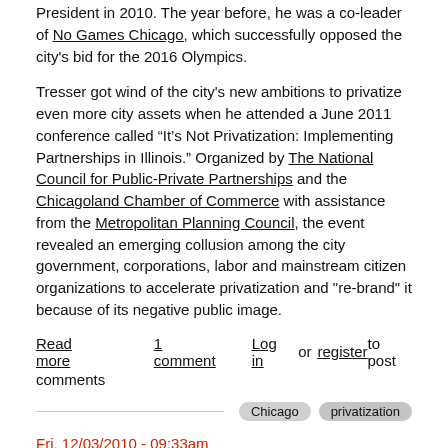President in 2010.  The year before, he was a co-leader of No Games Chicago, which successfully opposed the city's bid for the 2016 Olympics.
Tresser got wind of the city's new ambitions to privatize even more city assets when he attended a June 2011 conference called “It’s Not Privatization: Implementing Partnerships in Illinois.”  Organized by The National Council for Public-Private Partnerships and the Chicagoland Chamber of Commerce with assistance from the Metropolitan Planning Council, the event revealed an emerging collusion among the city government, corporations, labor and mainstream citizen organizations to accelerate privatization and "re-brand" it because of its negative public image.
Read more   1 comment   Log in or register to post comments
Chicago   privatization
Fri, 12/03/2010 - 09:33am